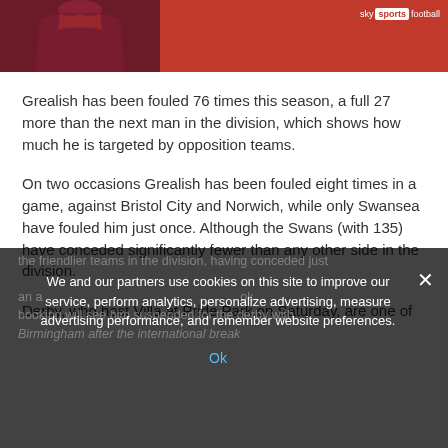[Figure (photo): Sky Sports Football header with a player in a dark red/maroon jersey on the left, red background on the right with Sky Sports Football logo in top right corner]
Grealish has been fouled 76 times this season, a full 27 more than the next man in the division, which shows how much he is targeted by opposition teams.
On two occasions Grealish has been fouled eight times in a game, against Bristol City and Norwich, while only Swansea have fouled him just once. Although the Swans (with 135) have conceded significantly fewer than any other side in the division.
Derby, who host Villa at Pride Park on Saturday, are one of the friendlier teams in the division, having conceded just...
We and our partners use cookies on this site to improve our service, perform analytics, personalize advertising, measure advertising performance, and remember website preferences.

Ok